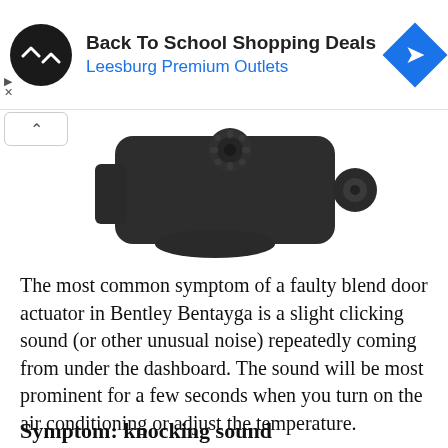[Figure (other): Advertisement banner: black circular logo with double chevron arrows, text 'Back To School Shopping Deals' and 'Leesburg Premium Outlets' in blue, blue diamond navigation icon on right]
[Figure (photo): Photo of a black plastic blend door actuator automotive part, rectangular with a gear/shaft on top and a mounting hole on the right side, photographed on white background]
The most common symptom of a faulty blend door actuator in Bentley Bentayga is a slight clicking sound (or other unusual noise) repeatedly coming from under the dashboard. The sound will be most prominent for a few seconds when you turn on the air conditioning or adjust the temperature.
Symptom: knocking sound